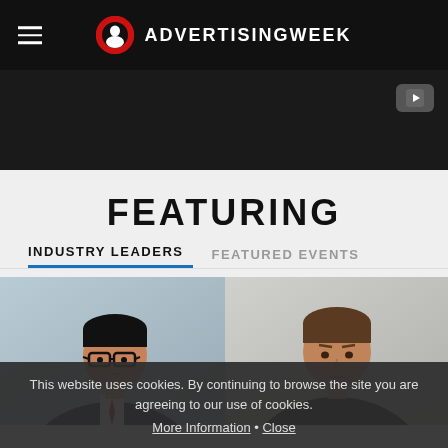ADVERTISINGWEEK
[Figure (screenshot): Dark video player area with YouTube-style play button in top right corner]
FEATURING
INDUSTRY LEADERS   FEATURED EVENTS
[Figure (photo): Two professional headshots side by side: left - Asian man in dark suit with glasses and red tie; right - Caucasian man in dark jacket]
This website uses cookies. By continuing to browse the site you are agreeing to our use of cookies. More Information • Close